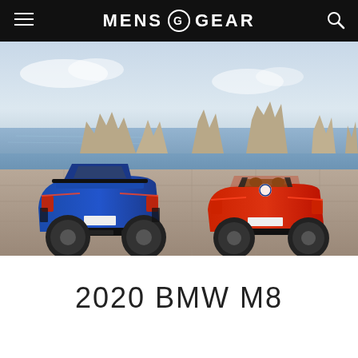MENS GEAR
[Figure (photo): Two BMW M8 cars photographed from behind on a coastal stone plaza with rocky sea stacks in the background. Left car is a blue M8 coupe, right car is a red M8 convertible with top down.]
2020 BMW M8